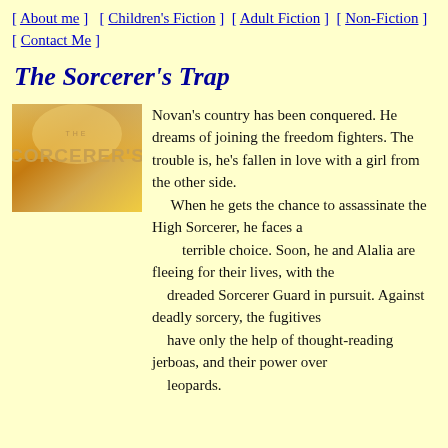[ About me ]  [ Children's Fiction ]  [ Adult Fiction ]  [ Non-Fiction ]  [ Contact Me ]
The Sorcerer's Trap
[Figure (illustration): Book cover image showing 'THE CORCERER'S' text in golden/orange tones on a warm background]
Novan's country has been conquered. He dreams of joining the freedom fighters. The trouble is, he's fallen in love with a girl from the other side. When he gets the chance to assassinate the High Sorcerer, he faces a terrible choice. Soon, he and Alalia are fleeing for their lives, with the dreaded Sorcerer Guard in pursuit. Against deadly sorcery, the fugitives have only the help of thought-reading jerboas, and their power over leopards.